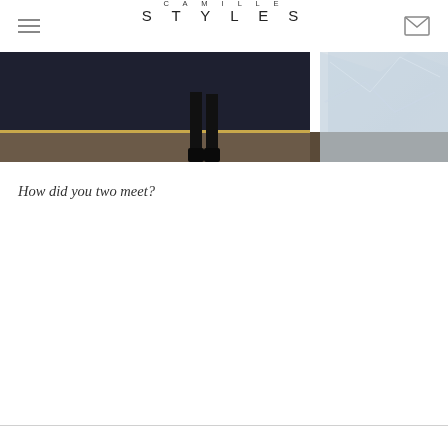CAMILLE STYLES
[Figure (photo): Photo showing lower body/legs of a person standing in dark pants and boots on a wooden floor, with a crystal or glass decorative element visible on the right side]
How did you two meet?